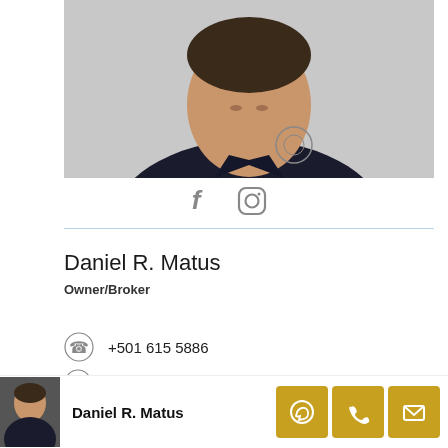[Figure (photo): Headshot of a smiling man wearing a dark navy jacket with an emblem, photographed against a light gray background.]
[Figure (other): Social media icons: Facebook (f) and Instagram (camera) icons in gray.]
Daniel R. Matus
Owner/Broker
+501 615 5886
501-615-5886
[Figure (other): Bottom sticky bar with thumbnail photo of Daniel R. Matus, his name in bold, and three gold icon buttons (WhatsApp, phone, email).]